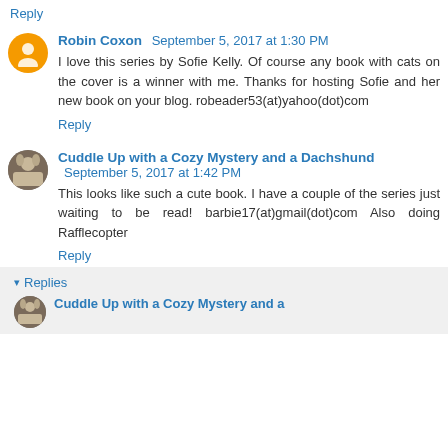Reply
Robin Coxon  September 5, 2017 at 1:30 PM
I love this series by Sofie Kelly. Of course any book with cats on the cover is a winner with me. Thanks for hosting Sofie and her new book on your blog. robeader53(at)yahoo(dot)com
Reply
Cuddle Up with a Cozy Mystery and a Dachshund  September 5, 2017 at 1:42 PM
This looks like such a cute book. I have a couple of the series just waiting to be read! barbie17(at)gmail(dot)com Also doing Rafflecopter
Reply
Replies
Cuddle Up with a Cozy Mystery and a